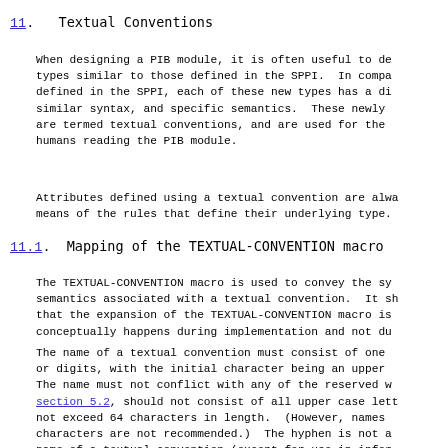11.  Textual Conventions
When designing a PIB module, it is often useful to define types similar to those defined in the SPPI. In comparison to types defined in the SPPI, each of these new types has a different name, similar syntax, and specific semantics. These newly created types are termed textual conventions, and are used for the clarity of humans reading the PIB module.
Attributes defined using a textual convention are always encoded by means of the rules that define their underlying type.
11.1.  Mapping of the TEXTUAL-CONVENTION macro
The TEXTUAL-CONVENTION macro is used to convey the syntax and semantics associated with a textual convention. It should be noted that the expansion of the TEXTUAL-CONVENTION macro is a process that conceptually happens during implementation and not during compilation.
The name of a textual convention must consist of one or more letters or digits, with the initial character being an upper case letter. The name must not conflict with any of the reserved words listed in section 5.2, should not consist of all upper case letters, must not exceed 64 characters in length. (However, names longer than 32 characters are not recommended.) The hyphen is not allowed in the name of a textual convention (except for use in informal).